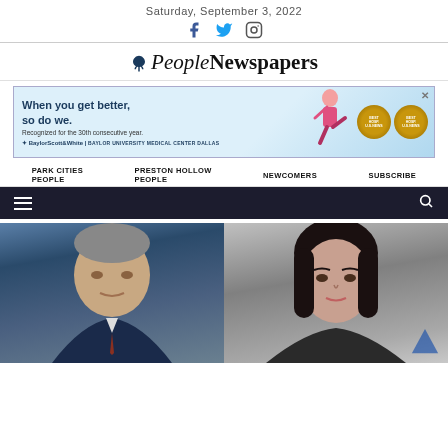Saturday, September 3, 2022
[Figure (logo): People Newspapers logo with tree icon]
[Figure (illustration): Baylor Scott & White advertisement banner - When you get better, so do we. Recognized for the 30th consecutive year.]
PARK CITIES PEOPLE   PRESTON HOLLOW PEOPLE   NEWCOMERS   SUBSCRIBE
[Figure (illustration): Dark navigation bar with hamburger menu and search icon]
[Figure (photo): Two headshot photos side by side - man with gray hair on blue background, woman with dark hair on gray background]